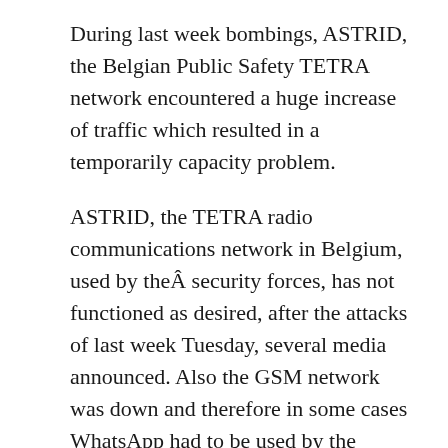During last week bombings, ASTRID, the Belgian Public Safety TETRA network encountered a huge increase of traffic which resulted in a temporarily capacity problem.
ASTRID, the TETRA radio communications network in Belgium, used by theÂ security forces, has not functioned as desired, after the attacks of last week Tuesday, several media announced. Also the GSM network was down and therefore in some cases WhatsApp had to be used by the security forces.
[Figure (photo): Broken/missing image placeholder icon (small document icon with folded corner and green triangle)]
Commissioner General Catherine De Bolle has